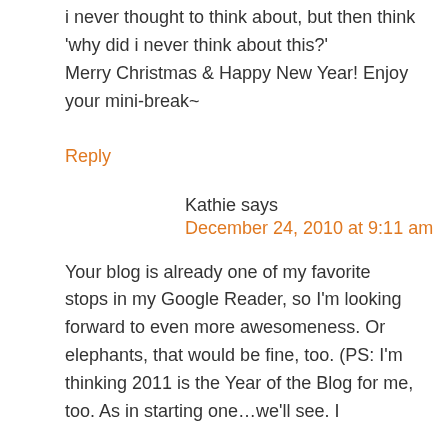i never thought to think about, but then think 'why did i never think about this?' Merry Christmas & Happy New Year! Enjoy your mini-break~
Reply
Kathie says
December 24, 2010 at 9:11 am
Your blog is already one of my favorite stops in my Google Reader, so I'm looking forward to even more awesomeness. Or elephants, that would be fine, too. (PS: I'm thinking 2011 is the Year of the Blog for me, too. As in starting one…we'll see. I